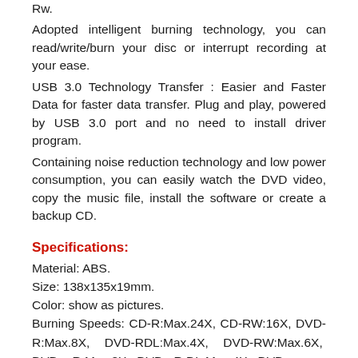Rw. Adopted intelligent burning technology, you can read/write/burn your disc or interrupt recording at your ease. USB 3.0 Technology Transfer : Easier and Faster Data for faster data transfer. Plug and play, powered by USB 3.0 port and no need to install driver program. Containing noise reduction technology and low power consumption, you can easily watch the DVD video, copy the music file, install the software or create a backup CD.
Specifications:
Material: ABS.
Size: 138x135x19mm.
Color: show as pictures.
Burning Speeds: CD-R:Max.24X, CD-RW:16X, DVD-R:Max.8X, DVD-RDL:Max.4X, DVD-RW:Max.6X, DVD + R:Max.8X, DVD +R DL:Max.4X, DVD